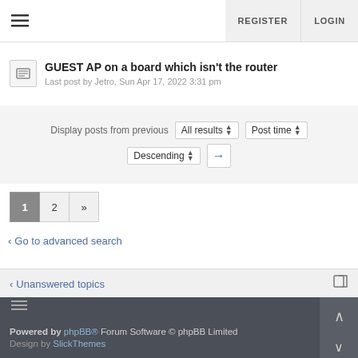≡  REGISTER  LOGIN
GUEST AP on a board which isn't the router
Last post by Jetro, Sun Apr 17, 2022 3:31 pm
Display posts from previous  All results ⬍  Post time ⬍
Descending ⬍  →
1  2  »
‹ Go to advanced search
‹ Unanswered topics
≡
Powered by phpBB® Forum Software © phpBB Limited
Design by SlickThemes